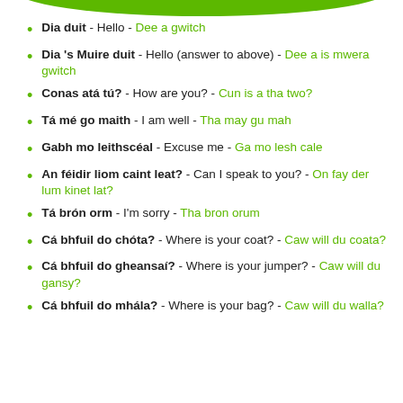[Figure (illustration): Green rounded banner/arc at top of page]
Dia duit - Hello - Dee a gwitch
Dia 's Muire duit - Hello (answer to above) - Dee a is mwera gwitch
Conas atá tú? - How are you? - Cun is a tha two?
Tá mé go maith - I am well - Tha may gu mah
Gabh mo leithscéal - Excuse me - Ga mo lesh cale
An féidir liom caint leat? - Can I speak to you? - On fay der lum kinet lat?
Tá brón orm - I'm sorry - Tha bron orum
Cá bhfuil do chóta? - Where is your coat? - Caw will du coata?
Cá bhfuil do gheansaí? - Where is your jumper? - Caw will du gansy?
Cá bhfuil do mhála? - Where is your bag? - Caw will du walla?